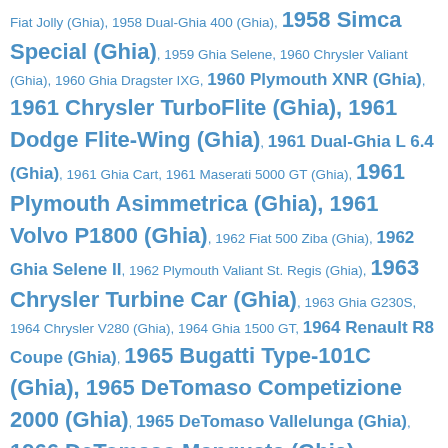Fiat Jolly (Ghia), 1958 Dual-Ghia 400 (Ghia), 1958 Simca Special (Ghia), 1959 Ghia Selene, 1960 Chrysler Valiant (Ghia), 1960 Ghia Dragster IXG, 1960 Plymouth XNR (Ghia), 1961 Chrysler TurboFlite (Ghia), 1961 Dodge Flite-Wing (Ghia), 1961 Dual-Ghia L 6.4 (Ghia), 1961 Ghia Cart, 1961 Maserati 5000 GT (Ghia), 1961 Plymouth Asimmetrica (Ghia), 1961 Volvo P1800 (Ghia), 1962 Fiat 500 Ziba (Ghia), 1962 Ghia Selene II, 1962 Plymouth Valiant St. Regis (Ghia), 1963 Chrysler Turbine Car (Ghia), 1963 Ghia G230S, 1964 Chrysler V280 (Ghia), 1964 Ghia 1500 GT, 1964 Renault R8 Coupe (Ghia), 1965 Bugatti Type-101C (Ghia), 1965 DeTomaso Competizione 2000 (Ghia), 1965 DeTomaso Vallelunga (Ghia), 1966 DeTomaso Mangusta (Ghia), 1966 DeTomaso Mangusta Spyder (Ghia), 1966 DeTomaso Pampero (Ghia), 1966 Duesenberg Model D (Ghia), 1966 Fiat 850 Vanessa (Ghia), 1966 Ghia 450/SS